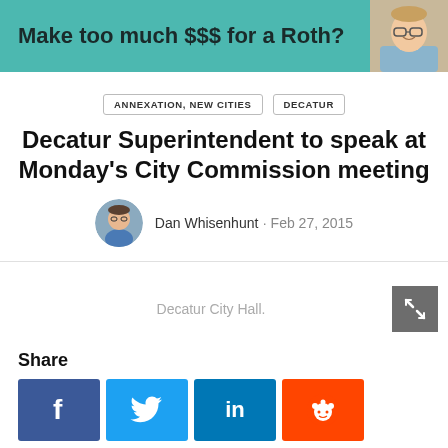[Figure (other): Advertisement banner with teal background: 'Make too much $$$ for a Roth?' with a photo of a smiling man with glasses]
ANNEXATION, NEW CITIES
DECATUR
Decatur Superintendent to speak at Monday's City Commission meeting
Dan Whisenhunt · Feb 27, 2015
Decatur City Hall.
Share